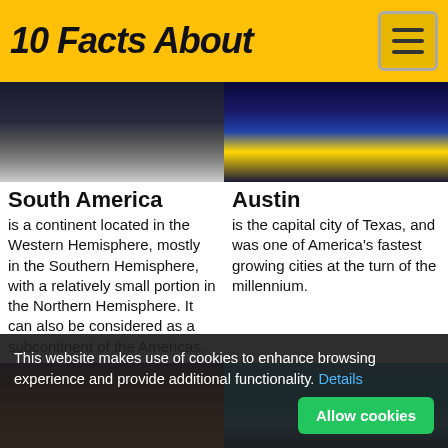10 Facts About
[Figure (photo): Dark atmospheric photo for South America article]
South America
is a continent located in the Western Hemisphere, mostly in the Southern Hemisphere, with a relatively small portion in the Northern Hemisphere. It can also be considered as a subcontinent of the Americas.
[Figure (photo): Night reflections on water for Austin article]
Austin
is the capital city of Texas, and was one of America's fastest growing cities at the turn of the millennium.
[Figure (photo): Street scene for Dublin article]
Dublin
[Figure (photo): Underwater scene for Suriname article]
Suriname
This website makes use of cookies to enhance browsing experience and provide additional functionality. Details Allow cookies